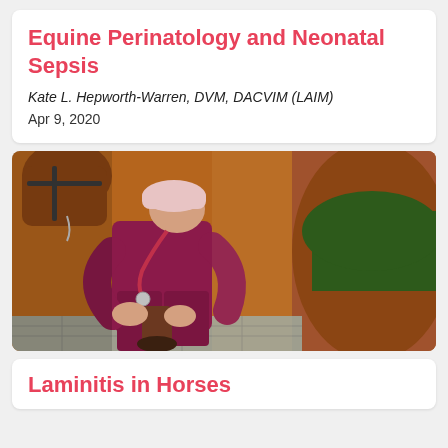Equine Perinatology and Neonatal Sepsis
Kate L. Hepworth-Warren, DVM, DACVIM (LAIM)
Apr 9, 2020
[Figure (photo): A veterinarian in magenta scrubs and a pink cap using a stethoscope to examine a horse's hoof/lower leg, with a brown horse visible in the background]
Laminitis in Horses